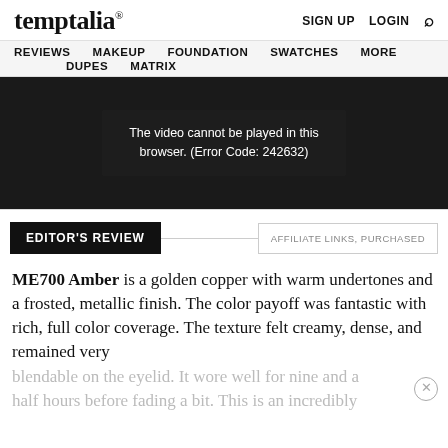temptalia® — SIGN UP  LOGIN  🔍
REVIEWS  MAKEUP  FOUNDATION  SWATCHES  MORE  DUPES  MATRIX
[Figure (screenshot): Video player showing error message: The video cannot be played in this browser. (Error Code: 242632)]
EDITOR'S REVIEW
AFFILIATE LINKS, PURCHASED
ME700 Amber is a golden copper with warm undertones and a frosted, metallic finish. The color payoff was fantastic with rich, full color coverage. The texture felt creamy, dense, and remained very blendable on the eyelid. It wore well for nine and a half hours before fading a bit. This is an incredibly